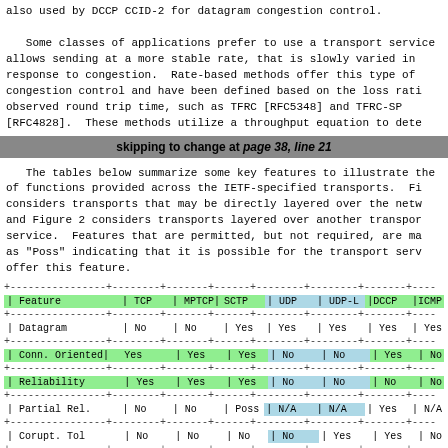also used by DCCP CCID-2 for datagram congestion control.

Some classes of applications prefer to use a transport service allows sending at a more stable rate, that is slowly varied in response to congestion.  Rate-based methods offer this type of congestion control and have been defined based on the loss rati observed round trip time, such as TFRC [RFC5348] and TFRC-SP [RFC4828].  These methods utilize a throughput equation to dete
skipping to change at page 38, line 21
The tables below summarize some key features to illustrate the of functions provided across the IETF-specified transports.  Fi considers transports that may be directly layered over the netw and Figure 2 considers transports layered over another transpor service.  Features that are permitted, but not required, are ma as "Poss" indicating that it is possible for the transport serv offer this feature.
| Feature | TCP | MPTCP | SCTP | UDP | UDP-L | DCCP | ICMP |
| --- | --- | --- | --- | --- | --- | --- | --- |
| Datagram | No | No | Yes | Yes | Yes | Yes | Yes |
| Conn. Oriented | Yes | Yes | Yes | No | No | Yes | No |
| Reliability | Yes | Yes | Yes | No | No | No | No |
| Partial Rel. | No | No | Poss | N/A | N/A | Yes | N/A |
| Corupt. Tol | No | No | No | No | Yes | Yes | No |
| Cong.Control | Yes | Yes | Yes | No | No | Yes | No |
| Endpoint | 1 | >=1 | >=1 | 1 | 1 | 1 | 1 |
| Multicast Cap. | No | No | No | Yes | Yes | No | No |